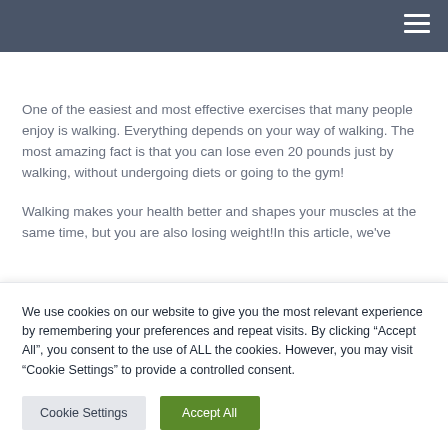One of the easiest and most effective exercises that many people enjoy is walking. Everything depends on your way of walking. The most amazing fact is that you can lose even 20 pounds just by walking, without undergoing diets or going to the gym!
Walking makes your health better and shapes your muscles at the same time, but you are also losing weight!In this article, we've
We use cookies on our website to give you the most relevant experience by remembering your preferences and repeat visits. By clicking “Accept All”, you consent to the use of ALL the cookies. However, you may visit “Cookie Settings” to provide a controlled consent.
Cookie Settings | Accept All